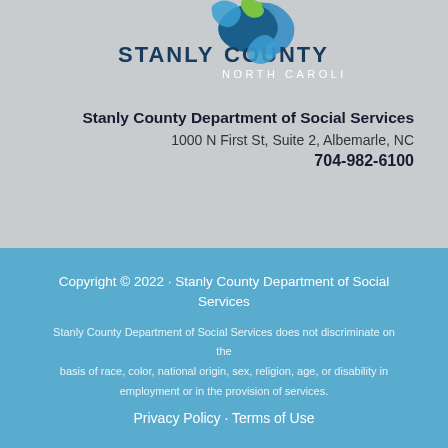[Figure (logo): Stanly County North Carolina logo with blue and green swoosh/ribbon shape above the text STANLY COUNTY NORTH CAROLINA]
Stanly County Department of Social Services
1000 N First St, Suite 2, Albemarle, NC
704-982-6100
Copyright © 2022 · Stanly County Department of Social Services
Stanly County Department of Social Services does not discriminate on the basis of race, color, national origin, sex, religion, age, or disability in employment or in the provision of services.
Privacy Policy · Terms of Use